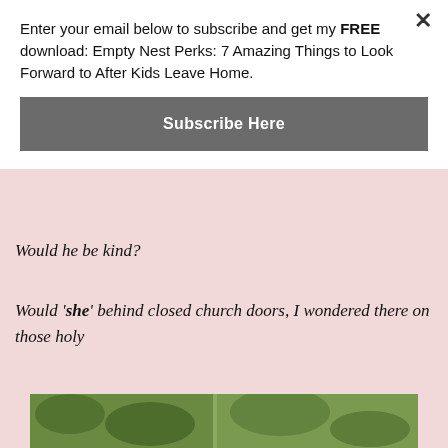Enter your email below to subscribe and get my FREE download: Empty Nest Perks: 7 Amazing Things to Look Forward to After Kids Leave Home.
Subscribe Here
[Figure (photo): Partially visible photo showing a person with suspenders and a wooden door or background]
Would he be kind?
Would 'she' behind closed church doors, I wondered there on those holy
[Figure (photo): Partially visible photo showing green trees/foliage]